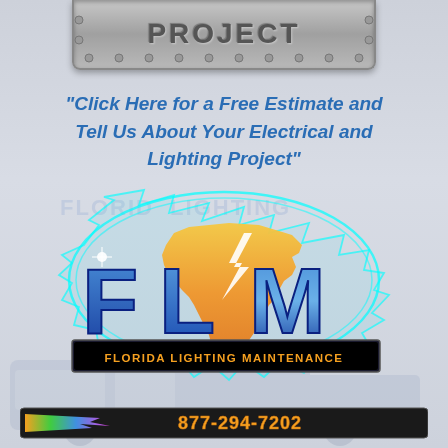[Figure (logo): Top metallic banner with 'PROJECT' text in dark gray letters on silver/gray riveted plate background]
“Click Here for a Free Estimate and Tell Us About Your Electrical and Lighting Project”
[Figure (logo): FLM Florida Lighting Maintenance logo featuring the state of Florida in orange/gold, large blue FLM letters with lightning bolt, cyan electric glow effect around the state outline, and 'FLORIDA LIGHTING MAINTENANCE' text in orange on dark banner below]
[Figure (logo): Phone number bar at bottom: 877-294-7202 in orange/yellow digital style text on dark bar with colorful lightning bolt graphic on left]